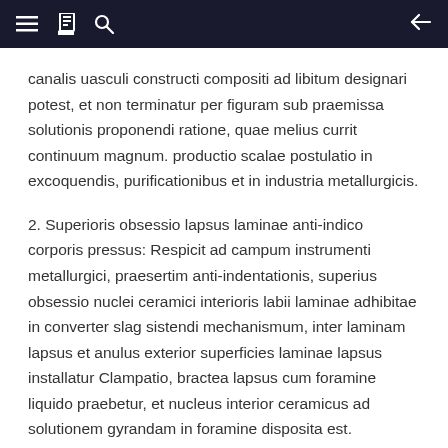Navigation bar with menu, book, search icons and back arrow
canalis uasculi constructi compositi ad libitum designari potest, et non terminatur per figuram sub praemissa solutionis proponendi ratione, quae melius currit continuum magnum. productio scalae postulatio in excoquendis, purificationibus et in industria metallurgicis.
2. Superioris obsessio lapsus laminae anti-indico corporis pressus: Respicit ad campum instrumenti metallurgici, praesertim anti-indentationis, superius obsessio nuclei ceramici interioris labii laminae adhibitae in converter slag sistendi mechanismum, inter laminam lapsus et anulus exterior superficies laminae lapsus installatur Clampatio, bractea lapsus cum foramine liquido praebetur, et nucleus interior ceramicus ad solutionem gyrandam in foramine disposita est. Ceramicus nucleus interiorem nucleum